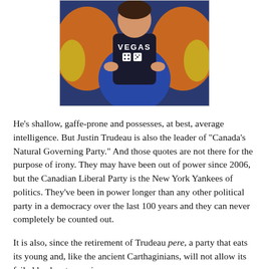[Figure (photo): A person wearing a Vegas costume/apron with dice, sitting with legs crossed, wearing orange jacket and blue pants, with colorful festive attire.]
He's shallow, gaffe-prone and possesses, at best, average intelligence. But Justin Trudeau is also the leader of "Canada's Natural Governing Party." And those quotes are not there for the purpose of irony. They may have been out of power since 2006, but the Canadian Liberal Party is the New York Yankees of politics. They've been in power longer than any other political party in a democracy over the last 100 years and they can never completely be counted out.
It is also, since the retirement of Trudeau pere, a party that eats its young and, like the ancient Carthaginians, will not allow its failed leaders to survive.
So I thought I'd shoot off a couple of quick thoughts about where I think the bar for Prince Bonehead is in the next federal election.